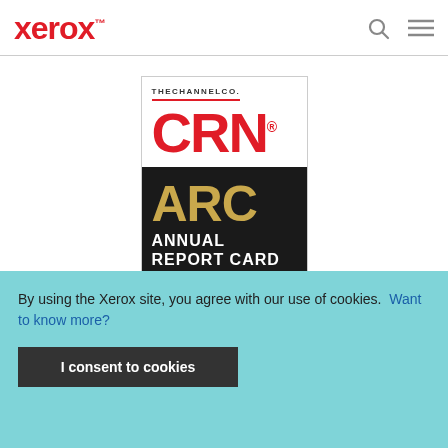Xerox™
[Figure (logo): CRN Annual Report Card 2018 badge by The Channel Co. White top section with red CRN text, black bottom section with gold ARC text and white ANNUAL REPORT CARD text, red 2018 at bottom.]
By using the Xerox site, you agree with our use of cookies. Want to know more?
I consent to cookies